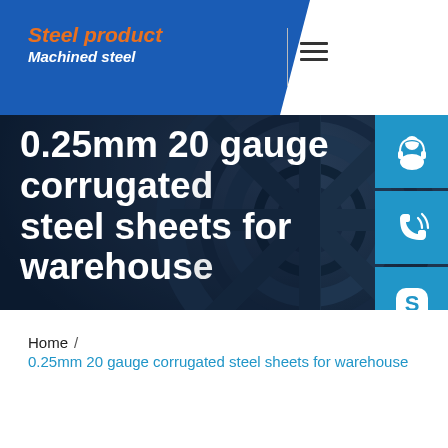Steel product / Machined steel
[Figure (screenshot): Hero banner with dark blue steel gear/wheel background image. White large text reads '0.25mm 20 gauge corrugated steel sheets for warehouse'. Right side has three blue icon buttons: customer service (headset), phone, and Skype (S logo).]
0.25mm 20 gauge corrugated steel sheets for warehouse
Home / 0.25mm 20 gauge corrugated steel sheets for warehouse